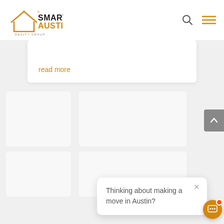[Figure (logo): Smart Austin Realty Group logo — house outline in gold/orange, text SMART in dark, AUSTIN in gold, REALTY GROUP in small caps below]
read more
Thinking about making a move in Austin?